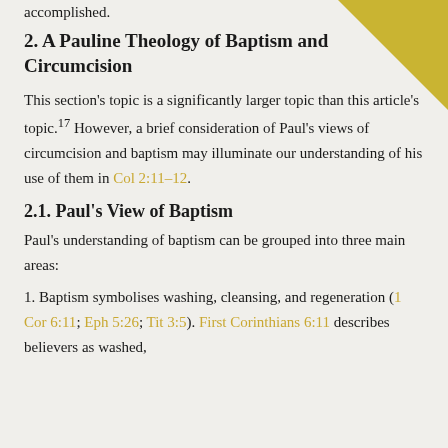accomplished.
2. A Pauline Theology of Baptism and Circumcision
This section's topic is a significantly larger topic than this article's topic.17 However, a brief consideration of Paul's views of circumcision and baptism may illuminate our understanding of his use of them in Col 2:11–12.
2.1. Paul's View of Baptism
Paul's understanding of baptism can be grouped into three main areas:
1. Baptism symbolises washing, cleansing, and regeneration (1 Cor 6:11; Eph 5:26; Tit 3:5). First Corinthians 6:11 describes believers as washed,